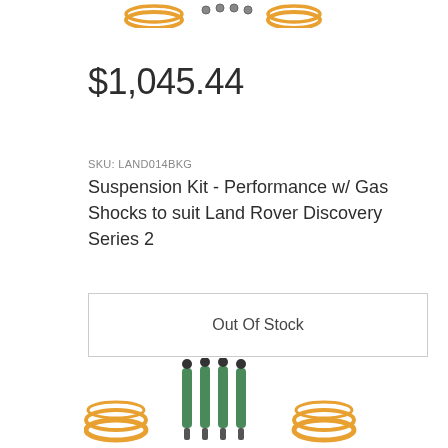[Figure (illustration): Partial top of product image showing suspension kit components with orange/gold circular ends against white background]
$1,045.44
SKU: LAND014BKG
Suspension Kit - Performance w/ Gas Shocks to suit Land Rover Discovery Series 2
Out Of Stock
[Figure (illustration): Bottom partial product image showing green gas shocks/struts with black tops and orange/gold coil spring bases]